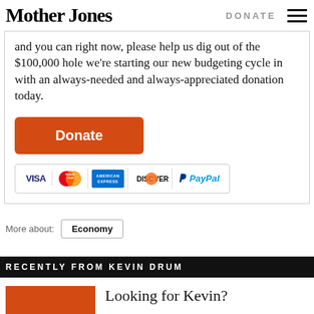Mother Jones | DONATE
and you can right now, please help us dig out of the $100,000 hole we're starting our new budgeting cycle in with an always-needed and always-appreciated donation today.
[Figure (other): Orange Donate button followed by payment icons: VISA, MasterCard, American Express, Discover, PayPal]
More about: Economy
RECENTLY FROM KEVIN DRUM
Looking for Kevin?
[Figure (photo): Orange placeholder image for Kevin Drum article thumbnail]